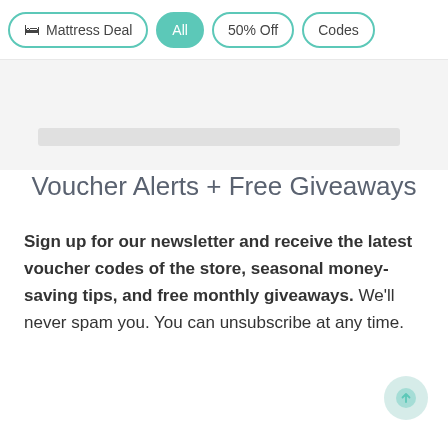🛏 Mattress Deal | All | 50% Off | Codes
Voucher Alerts + Free Giveaways
Sign up for our newsletter and receive the latest voucher codes of the store, seasonal money-saving tips, and free monthly giveaways. We'll never spam you. You can unsubscribe at any time.